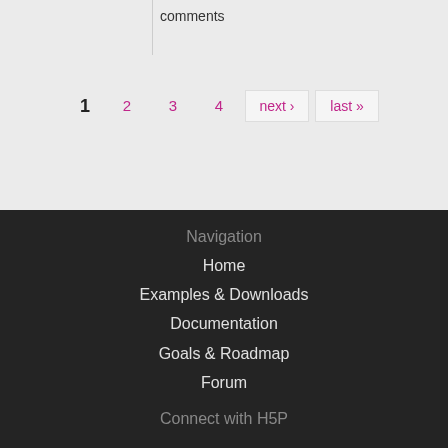comments
1  2  3  4  next ›  last »
Navigation
Home
Examples & Downloads
Documentation
Goals & Roadmap
Forum
Connect with H5P